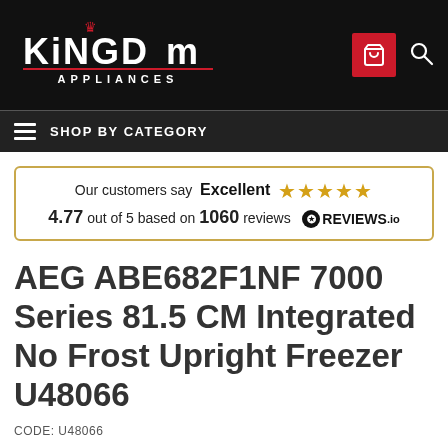[Figure (logo): Kingdom Appliances logo with red crown on black background, with shopping cart and search icons in header]
SHOP BY CATEGORY
Our customers say Excellent ★★★★★ 4.77 out of 5 based on 1060 reviews ✪REVIEWS.io
AEG ABE682F1NF 7000 Series 81.5 CM Integrated No Frost Upright Freezer U48066
CODE: U48066